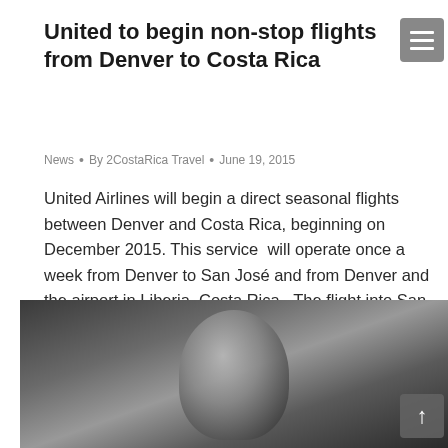United to begin non-stop flights from Denver to Costa Rica
News • By 2CostaRica Travel • June 19, 2015
United Airlines will begin a direct seasonal flights between Denver and Costa Rica, beginning on December 2015. This service will operate once a week from Denver to San José and from Denver and the airport in Liberia, Costa Rica.  The flight into San Jose is providing passengers an access, not only to the capital city, but also...
[Figure (photo): Black and white photograph of a person with curly hair, cropped, partially visible at the bottom of the page]